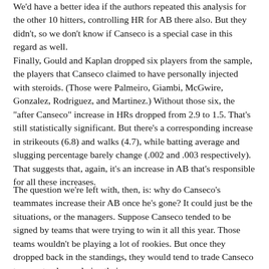We'd have a better idea if the authors repeated this analysis for the other 10 hitters, controlling HR for AB there also. But they didn't, so we don't know if Canseco is a special case in this regard as well.
Finally, Gould and Kaplan dropped six players from the sample, the players that Canseco claimed to have personally injected with steroids. (Those were Palmeiro, Giambi, McGwire, Gonzalez, Rodriguez, and Martinez.) Without those six, the "after Canseco" increase in HRs dropped from 2.9 to 1.5. That's still statistically significant. But there's a corresponding increase in strikeouts (6.8) and walks (4.7), while batting average and slugging percentage barely change (.002 and .003 respectively). That suggests that, again, it's an increase in AB that's responsible for all these increases.
The question we're left with, then, is: why do Canseco's teammates increase their AB once he's gone? It could just be the situations, or the managers. Suppose Canseco tended to be signed by teams that were trying to win it all this year. Those teams wouldn't be playing a lot of rookies. But once they dropped back in the standings, they would tend to trade Canseco to a contender, and give their young